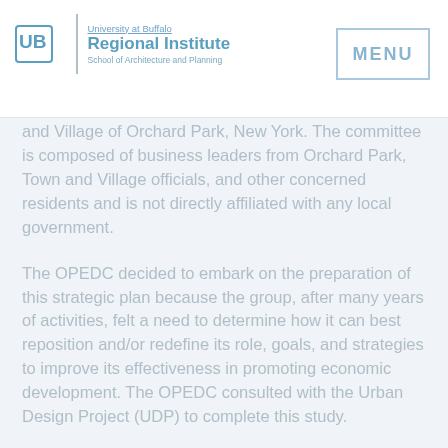University at Buffalo Regional Institute School of Architecture and Planning | MENU
and Village of Orchard Park, New York. The committee is composed of business leaders from Orchard Park, Town and Village officials, and other concerned residents and is not directly affiliated with any local government.
The OPEDC decided to embark on the preparation of this strategic plan because the group, after many years of activities, felt a need to determine how it can best reposition and/or redefine its role, goals, and strategies to improve its effectiveness in promoting economic development. The OPEDC consulted with the Urban Design Project (UDP) to complete this study.